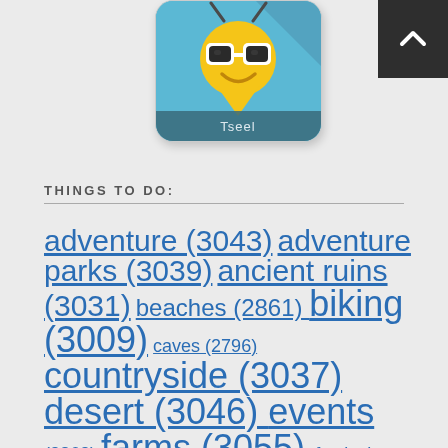[Figure (illustration): Tseel app icon showing a yellow smiley face pin with glasses on a blue background, with the label 'Tseel' at the bottom]
[Figure (other): Dark navigation back-to-top button in the top right corner with a white upward chevron]
THINGS TO DO:
adventure (3043)
adventure parks (3039)
ancient ruins (3031)
beaches (2861) biking (3009)
caves (2796) countryside (3037) desert (3046) events
(2862) farms (3055) festival